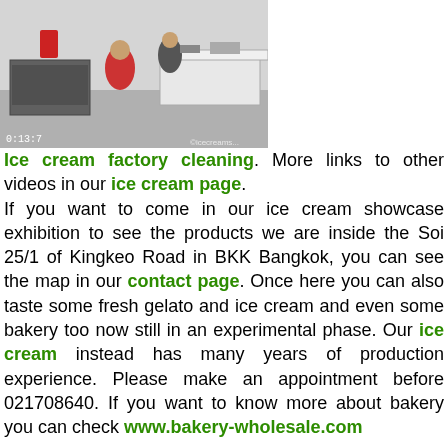[Figure (photo): CCTV footage of an ice cream factory cleaning scene, showing workers in a commercial kitchen/factory setting with equipment. Timestamp visible in lower left.]
Ice cream factory cleaning. More links to other videos in our ice cream page. If you want to come in our ice cream showcase exhibition to see the products we are inside the Soi 25/1 of Kingkeo Road in BKK Bangkok, you can see the map in our contact page. Once here you can also taste some fresh gelato and ice cream and even some bakery too now still in an experimental phase. Our ice cream instead has many years of production experience. Please make an appointment before 021708640. If you want to know more about bakery you can check www.bakery-wholesale.com
Author: Kittiporn Nantanon, from BKK Bangkok
All domains of the group: ice-cream-showcases.com ice-cream-display.com ไอศกรีมตู้โชว์: ตู้โชว์ไอศครีม.com, ตู้แช่ไอติม: www.ตู้โชว์ไอติม.com ตู้แช่ไอศกรีม: www.ตู้โชว์ไอศกรีม.com ตู้